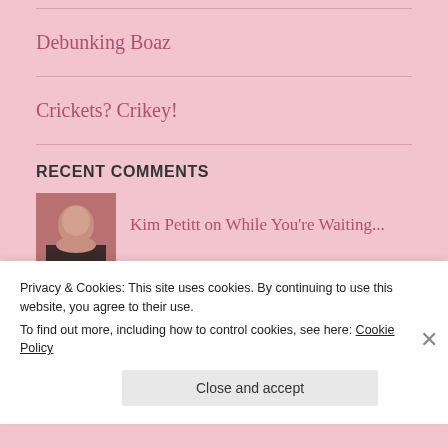Debunking Boaz
Crickets? Crikey!
RECENT COMMENTS
Kim Petitt on While You're Waiting...
A Shepherd's Heart on Debunking Boaz
Privacy & Cookies: This site uses cookies. By continuing to use this website, you agree to their use. To find out more, including how to control cookies, see here: Cookie Policy
Close and accept